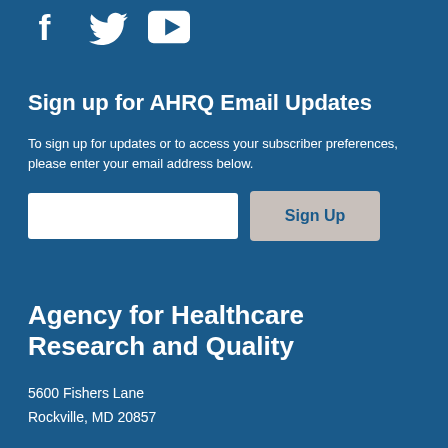[Figure (illustration): Social media icons: Facebook (f), Twitter (bird), YouTube (play button triangle) in white on dark blue background]
Sign up for AHRQ Email Updates
To sign up for updates or to access your subscriber preferences, please enter your email address below.
[Figure (other): Email input text field and Sign Up button]
Agency for Healthcare Research and Quality
5600 Fishers Lane
Rockville, MD 20857